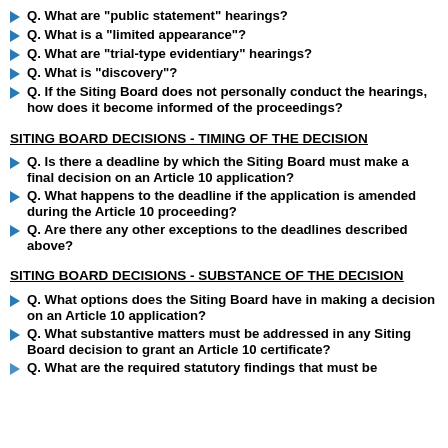Q. What are "public statement" hearings?
Q. What is a "limited appearance"?
Q. What are "trial-type evidentiary" hearings?
Q. What is "discovery"?
Q. If the Siting Board does not personally conduct the hearings, how does it become informed of the proceedings?
SITING BOARD DECISIONS - TIMING OF THE DECISION
Q. Is there a deadline by which the Siting Board must make a final decision on an Article 10 application?
Q. What happens to the deadline if the application is amended during the Article 10 proceeding?
Q. Are there any other exceptions to the deadlines described above?
SITING BOARD DECISIONS - SUBSTANCE OF THE DECISION
Q. What options does the Siting Board have in making a decision on an Article 10 application?
Q. What substantive matters must be addressed in any Siting Board decision to grant an Article 10 certificate?
Q. What are the required statutory findings that must be